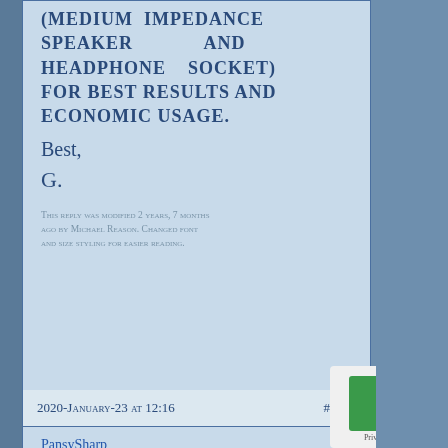(MEDIUM IMPEDANCE SPEAKER AND HEADPHONE SOCKET) FOR BEST RESULTS AND ECONOMIC USAGE.
Best,
G.
This reply was modified 2 years, 7 months ago by Michael Reason. Changed font and size styling for easier reading.
2020-January-23 at 12:16   #8200
PansySharp
Participant
Hi...these use virtually the same